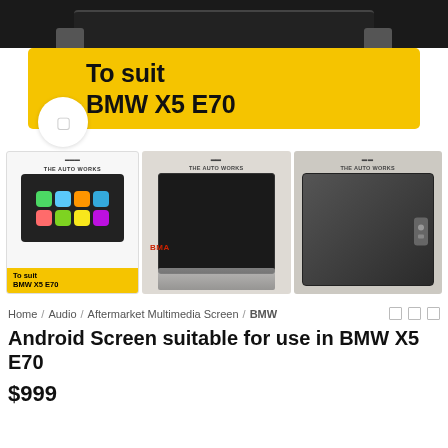[Figure (photo): Top portion of a car screen/monitor unit shown from above with mounting brackets on sides]
[Figure (infographic): Yellow banner with bold text 'To suit BMW X5 E70' and a white circular badge/icon on the left]
[Figure (photo): Three product thumbnails: left shows CarPlay screen display with 'To suit BMW X5 E70' label, center shows open screen unit with cables, right shows back/side of the unit. All have THE AUTO WORKS logo.]
Home / Audio / Aftermarket Multimedia Screen / BMW
Android Screen suitable for use in BMW X5 E70
$999